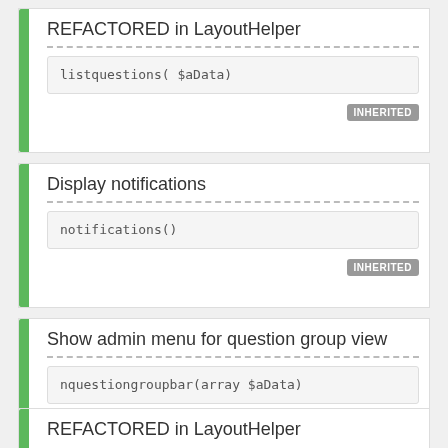REFACTORED in LayoutHelper
listquestions( $aData)
INHERITED
Display notifications
notifications()
INHERITED
Show admin menu for question group view
nquestiongroupbar(array $aData)
INHERITED
REFACTORED in LayoutHelper